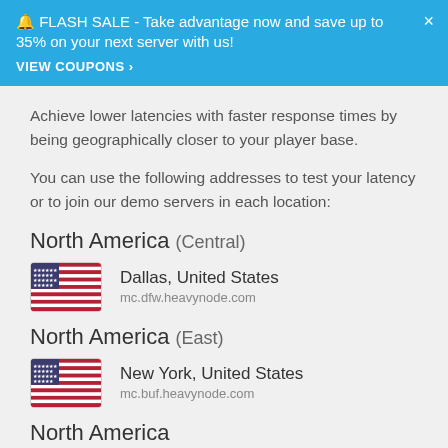🔔 FLASH SALE - Take advantage now and save up to 35% on your next server with us! VIEW COUPONS ›
Achieve lower latencies with faster response times by being geographically closer to your player base.
You can use the following addresses to test your latency or to join our demo servers in each location:
North America (Central)
[Figure (illustration): US flag icon]
Dallas, United States
mc.dfw.heavynode.com
North America (East)
[Figure (illustration): US flag icon]
New York, United States
mc.buf.heavynode.com
North America (West)